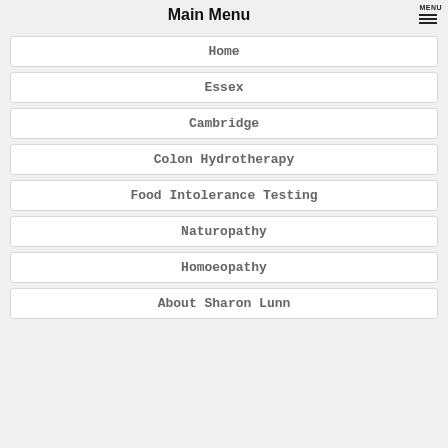Main Menu
Home
Essex
Cambridge
Colon Hydrotherapy
Food Intolerance Testing
Naturopathy
Homoeopathy
About Sharon Lunn